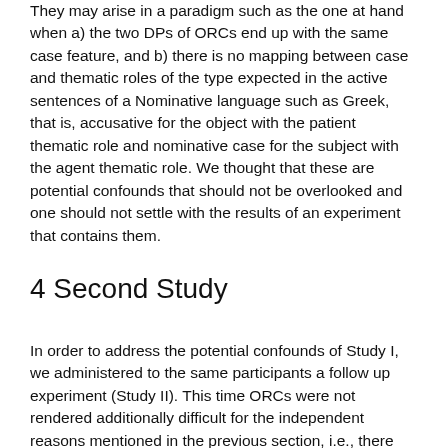They may arise in a paradigm such as the one at hand when a) the two DPs of ORCs end up with the same case feature, and b) there is no mapping between case and thematic roles of the type expected in the active sentences of a Nominative language such as Greek, that is, accusative for the object with the patient thematic role and nominative case for the subject with the agent thematic role. We thought that these are potential confounds that should not be overlooked and one should not settle with the results of an experiment that contains them.
4 Second Study
In order to address the potential confounds of Study I, we administered to the same participants a follow up experiment (Study II). This time ORCs were not rendered additionally difficult for the independent reasons mentioned in the previous section, i.e., there were no relativized objects with nominative case, nor DPs with the